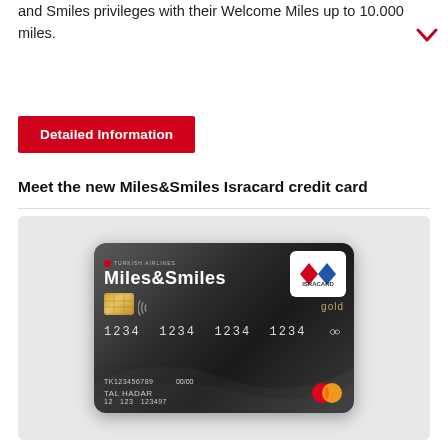and Smiles privileges with their Welcome Miles up to 10.000 miles.
[Figure (other): Red chevron/dropdown arrow icon in top right corner]
[Figure (other): Red button labeled 'Detailed Information']
Meet the new Miles&Smiles Isracard credit card
[Figure (photo): Miles&Smiles Isracard gold credit card image on grey background. Card shows Turkish Airlines Miles&Smiles branding, Isracard logo, gold chip, card number 1234 1234 1234 1234, name TAL HADAR, date 00/00, number TK123456789, and Mastercard logo.]